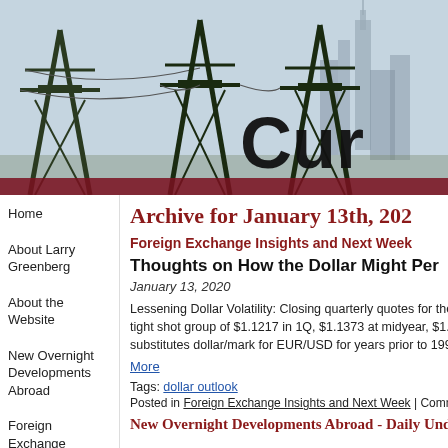[Figure (photo): Banner photo showing electrical power transmission towers/pylons against a city skyline (Empire State Building visible), with partial site title 'Cur' visible in bold black text on right side.]
Home
About Larry Greenberg
About the Website
New Overnight Developments Abroad
Foreign Exchange Insights
Central Bank Watch
Archive for January 13th, 202
Foreign Exchange Insights and Next Week
Thoughts on How the Dollar Might Per
January 13, 2020
Lessening Dollar Volatility: Closing quarterly quotes for the eu tight shot group of $1.1217 in 1Q, $1.1373 at midyear, $1.0900 substitutes dollar/mark for EUR/USD for years prior to 1999, t
More
Tags: dollar outlook
Posted in Foreign Exchange Insights and Next Week | Comments O
New Overnight Developments Abroad - Daily Und